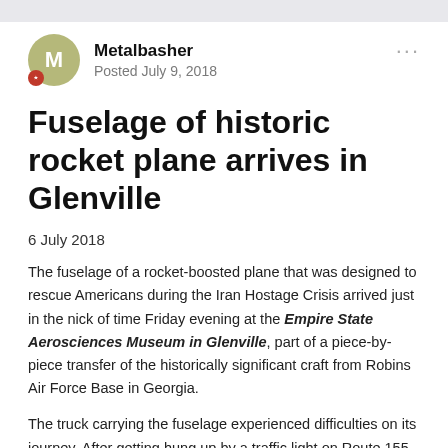Metalbasher
Posted July 9, 2018
Fuselage of historic rocket plane arrives in Glenville
6 July 2018
The fuselage of a rocket-boosted plane that was designed to rescue Americans during the Iran Hostage Crisis arrived just in the nick of time Friday evening at the Empire State Aerosciences Museum in Glenville, part of a piece-by-piece transfer of the historically significant craft from Robins Air Force Base in Georgia.
The truck carrying the fuselage experienced difficulties on its journey. After getting hung up by a traffic light on Route 155 in Guilderland at about 1 p.m., it had to park on the roadside for